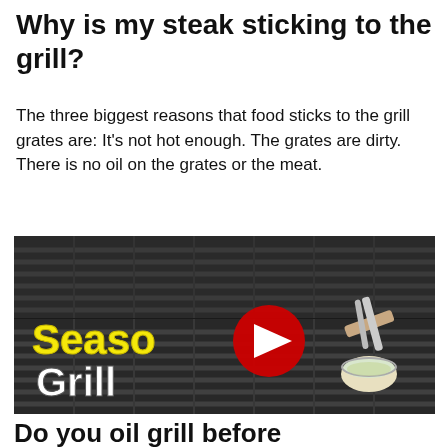Why is my steak sticking to the grill?
The three biggest reasons that food sticks to the grill grates are: It's not hot enough. The grates are dirty. There is no oil on the grates or the meat.
[Figure (screenshot): A YouTube video thumbnail showing a gas grill with grates, a hand holding tongs with a small cup of oil, and text overlaid reading 'Season Grill' in yellow and white letters, with a red YouTube play button in the center.]
Do you oil grill before